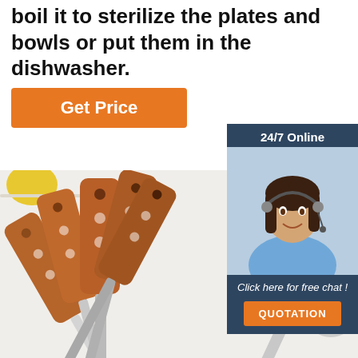boil it to sterilize the plates and bowls or put them in the dishwasher.
Get Price
[Figure (other): Customer service representative with headset and sidebar showing 24/7 Online, Click here for free chat!, and QUOTATION button]
[Figure (photo): Kitchen utensils with wooden handles including spatulas, forks, and a slotted spoon on a white background with a lemon]
[Figure (logo): TOP badge in orange on bottom right of product image]